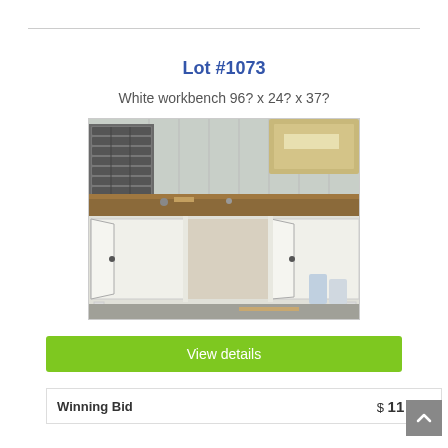Lot #1073
White workbench 96? x 24? x 37?
[Figure (photo): Photo of a white workbench with cabinet doors open, showing a large work surface and storage compartments below. Shelving with small parts bins visible in background.]
View details
Winning Bid  $ 11 (45)